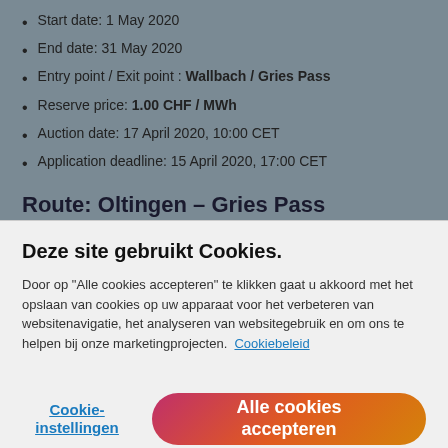Start date: 1 May 2020
End date: 31 May 2020
Entry point / Exit point : Wallbach / Gries Pass
Reserve price: 1.00 CHF / MWh
Auction date: 17 April 2020, 10:00 CET
Application deadline: 15 April 2020, 17:00 CET
Route: Oltingen – Gries Pass
Deze site gebruikt Cookies.
Door op "Alle cookies accepteren" te klikken gaat u akkoord met het opslaan van cookies op uw apparaat voor het verbeteren van websitenavigatie, het analyseren van websitegebruik en om ons te helpen bij onze marketingprojecten.  Cookiebeleid
Cookie-instellingen
Alle cookies accepteren